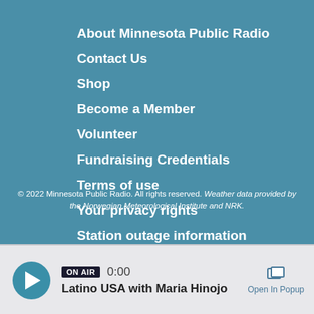About Minnesota Public Radio
Contact Us
Shop
Become a Member
Volunteer
Fundraising Credentials
Terms of use
Your privacy rights
Station outage information
© 2022 Minnesota Public Radio. All rights reserved. Weather data provided by the Norwegian Meteorological Institute and NRK.
ON AIR  0:00  Latino USA with Maria Hinojo  Open In Popup